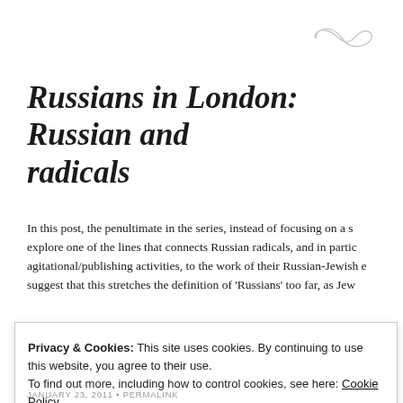[Figure (illustration): Decorative infinity/tilde swirl symbol in light gray, top right corner]
Russians in London: Russian and radicals
In this post, the penultimate in the series, instead of focusing on a s explore one of the lines that connects Russian radicals, and in partic agitational/publishing activities, to the work of their Russian-Jewish suggest that this stretches the definition of 'Russians' too far, as Jew
Privacy & Cookies: This site uses cookies. By continuing to use this website, you agree to their use.
To find out more, including how to control cookies, see here: Cookie Policy
Close and accept
JANUARY 23, 2011 • PERMALINK